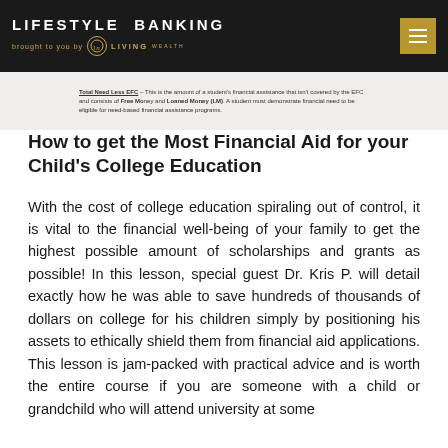LIFESTYLE BANKING brought to you by LIVING WEALTH
[Figure (screenshot): Partial view of a document snippet showing text about financial aid terms including 'Free Money' and 'Loaned Money (LM)' and eligibility for need-based financial assistance programs.]
How to get the Most Financial Aid for your Child's College Education
With the cost of college education spiraling out of control, it is vital to the financial well-being of your family to get the highest possible amount of scholarships and grants as possible! In this lesson, special guest Dr. Kris P. will detail exactly how he was able to save hundreds of thousands of dollars on college for his children simply by positioning his assets to ethically shield them from financial aid applications. This lesson is jam-packed with practical advice and is worth the entire course if you are someone with a child or grandchild who will attend university at some